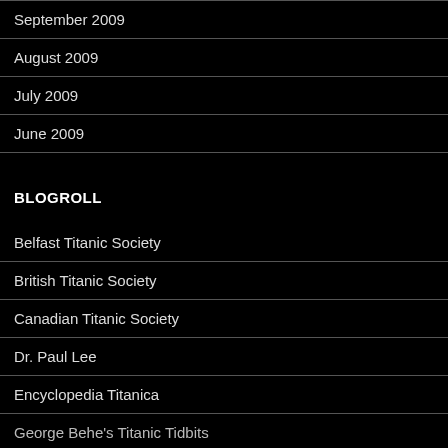September 2009
August 2009
July 2009
June 2009
BLOGROLL
Belfast Titanic Society
British Titanic Society
Canadian Titanic Society
Dr. Paul Lee
Encyclopedia Titanica
George Behe's Titanic Tidbits